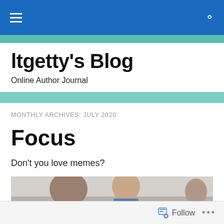Navigation bar with hamburger menu and search icon
ltgetty's Blog
Online Author Journal
MONTHLY ARCHIVES: JULY 2020
Focus
Don't you love memes?
[Figure (photo): A meme image showing a man looking away from his partner toward another woman passing by (the 'Distracted Boyfriend' meme). The image is partially cropped showing three people in an outdoor blurred background setting.]
Follow ...